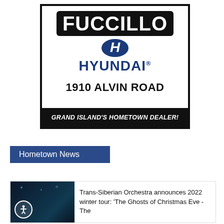[Figure (logo): Fuccillo Hyundai advertisement. Black bordered white box with FUCCILLO in white text on black rounded rectangle, Hyundai H emblem in blue, HYUNDAI in dark blue bold text, 1910 ALVIN ROAD in black bold text, and black footer bar reading GRAND ISLAND'S HOMETOWN DEALER! in white italic.]
Hometown News
Trans-Siberian Orchestra announces 2022 winter tour: 'The Ghosts of Christmas Eve - The